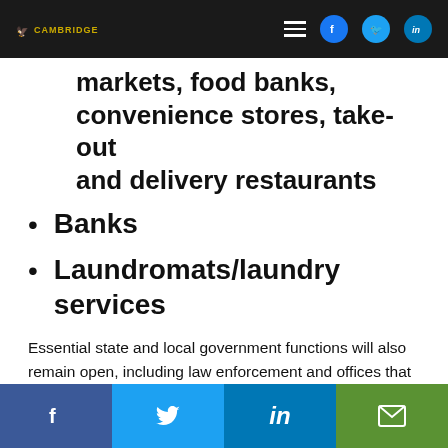CAMBRIDGE [logo] | hamburger menu | Facebook | Twitter | LinkedIn
markets, food banks, convenience stores, take-out and delivery restaurants
Banks
Laundromats/laundry services
Essential state and local government functions will also remain open, including law enforcement and offices that provide government programs and services. And what’s closed/cancelled during the Order? Dine-in restaurants, bars and nightclubs, entertainment venues, gyms and fitness studios, public events and gatherings, and
f | Twitter bird | in | mail icon